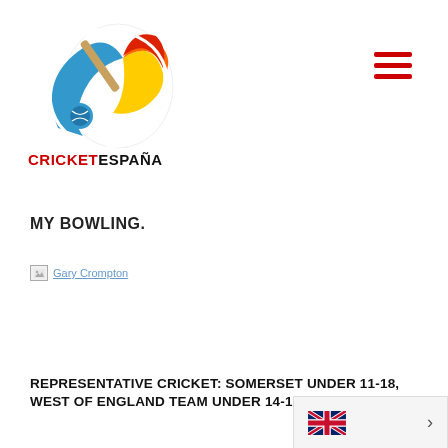[Figure (logo): Cricket España logo with colored cricket ball/bat graphic and text CRICKETESPAÑA in red and black]
[Figure (other): Hamburger menu icon — three horizontal red bars in top right corner]
MY BOWLING.
[Figure (photo): Broken image placeholder with alt text 'Gary Crompton']
REPRESENTATIVE CRICKET: SOMERSET UNDER 11-18, WEST OF ENGLAND TEAM UNDER 14-16
[Figure (other): British flag language selector widget in bottom right corner with chevron arrow]